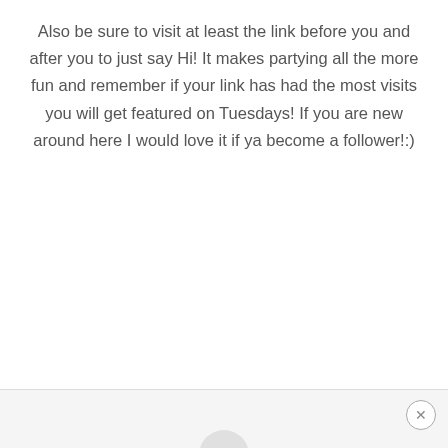Also be sure to visit at least the link before you and after you to just say Hi! It makes partying all the more fun and remember if your link has had the most visits you will get featured on Tuesdays! If you are new around here I would love it if ya become a follower!:)